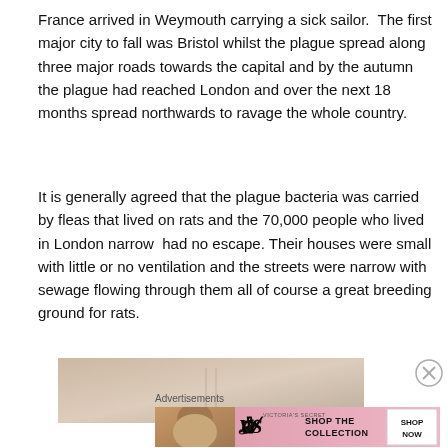France arrived in Weymouth carrying a sick sailor. The first major city to fall was Bristol whilst the plague spread along three major roads towards the capital and by the autumn the plague had reached London and over the next 18 months spread northwards to ravage the whole country.
It is generally agreed that the plague bacteria was carried by fleas that lived on rats and the 70,000 people who lived in London narrow had no escape. Their houses were small with little or no ventilation and the streets were narrow with sewage flowing through them all of course a great breeding ground for rats.
[Figure (photo): Partially visible image, appears to be a historical or decorative image, cropped at bottom of content area.]
Advertisements
[Figure (infographic): Victoria's Secret advertisement banner showing a woman, the VS logo, text 'SHOP THE COLLECTION', and a 'SHOP NOW' button.]